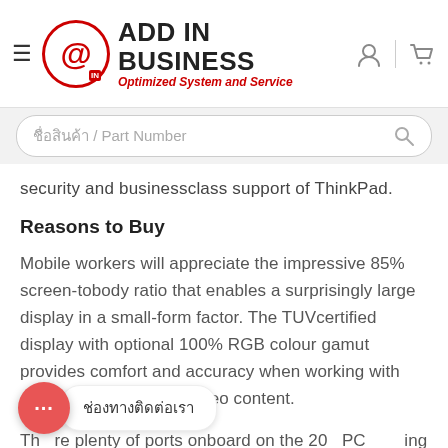ADD IN BUSINESS - Optimized System and Service
ชื่อสินค้า / Part Number
security and businessclass support of ThinkPad.
Reasons to Buy
Mobile workers will appreciate the impressive 85% screen-tobody ratio that enables a surprisingly large display in a small-form factor. The TUVcertified display with optional 100% RGB colour gamut provides comfort and accuracy when working with smalltext, graphics or video content.
There are plenty of ports onboard on the 2021 PCs, including the new Thunderbolt 4 portthat enables simple, fast and intuitive
ช่องทางติดต่อเรา